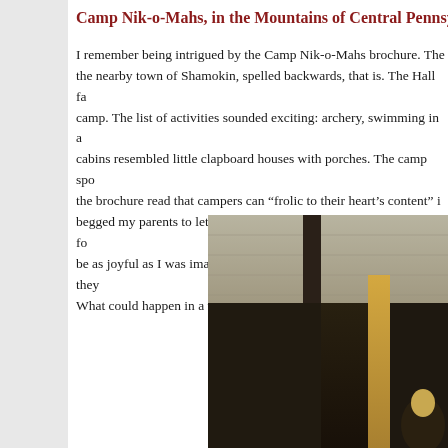Camp Nik-o-Mahs, in the Mountains of Central Pennsylva...
I remember being intrigued by the Camp Nik-o-Mahs brochure. The nearby town of Shamokin, spelled backwards, that is. The Hall fa camp. The list of activities sounded exciting: archery, swimming in a cabins resembled little clapboard houses with porches. The camp spo the brochure read that campers can "frolic to their heart's content" i begged my parents to let me go. They were not so enthusiastic. My fo be as joyful as I was imaging. The begging paid off, however, and they What could happen in a week, after all?
[Figure (photo): A photograph showing a person near a wooden cabin structure with clapboard siding. The image has warm, vintage tones with dark shadows and golden highlights suggesting an outdoor summer camp setting.]